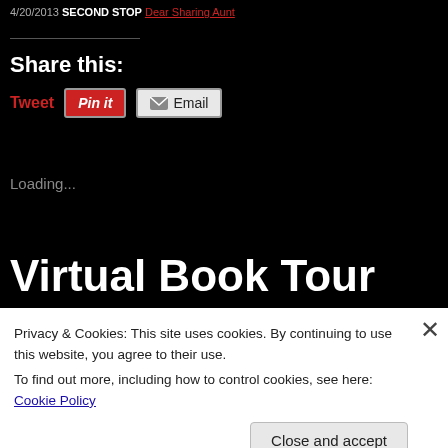4/20/2013 SECOND STOP Dear Sharing Aunt
Share this:
Tweet  Pin it  Email
Loading...
Virtual Book Tour Stop #10:
Privacy & Cookies: This site uses cookies. By continuing to use this website, you agree to their use.
To find out more, including how to control cookies, see here: Cookie Policy
Close and accept